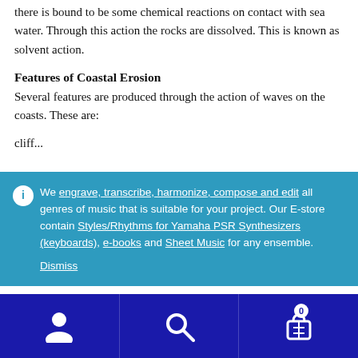there is bound to be some chemical reactions on contact with sea water. Through this action the rocks are dissolved. This is known as solvent action.
Features of Coastal Erosion
Several features are produced through the action of waves on the coasts. These are:
cliff...
We engrave, transcribe, harmonize, compose and edit all genres of music that is suitable for your project. Our E-store contain Styles/Rhythms for Yamaha PSR Synthesizers (keyboards), e-books and Sheet Music for any ensemble. Dismiss